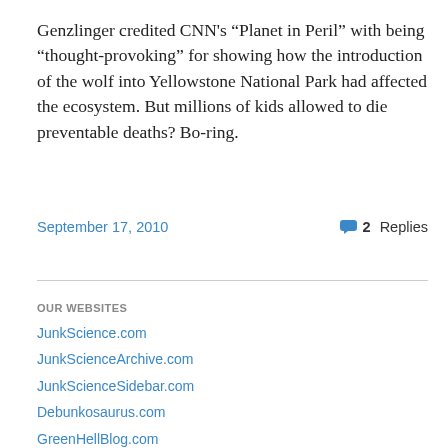Genzlinger credited CNN's “Planet in Peril” with being “thought-provoking” for showing how the introduction of the wolf into Yellowstone National Park had affected the ecosystem. But millions of kids allowed to die preventable deaths? Bo-ring.
September 17, 2010
2 Replies
OUR WEBSITES
JunkScience.com
JunkScienceArchive.com
JunkScienceSidebar.com
Debunkosaurus.com
GreenHellBlog.com
CorporateEnergySubsidies.com